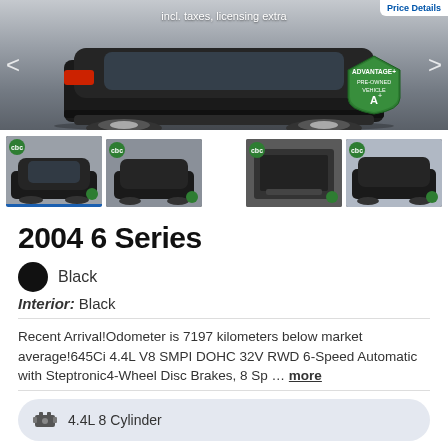[Figure (photo): Main photo of a black 2004 BMW 6 Series convertible, rear view, with Advantage+ Pre-Owned Vehicle badge overlay and navigation arrows. Text overlay: 'incl. taxes, licensing extra']
[Figure (photo): Thumbnail 1: Black BMW 6 Series front/side view (active/selected)]
[Figure (photo): Thumbnail 2: Black BMW 6 Series convertible top-down view]
[Figure (photo): Thumbnail 3: BMW 6 Series trunk interior view]
[Figure (photo): Thumbnail 4: Black BMW 6 Series side view]
2004 6 Series
Black
Interior: Black
Recent Arrival!Odometer is 7197 kilometers below market average!645Ci 4.4L V8 SMPI DOHC 32V RWD 6-Speed Automatic with Steptronic4-Wheel Disc Brakes, 8 Sp … more
4.4L 8 Cylinder